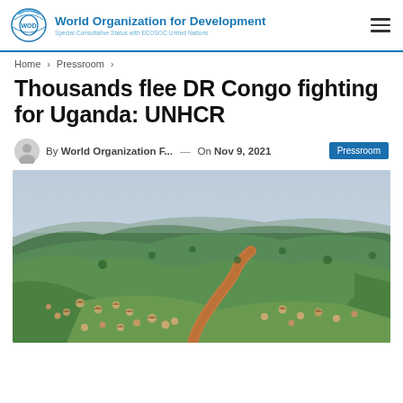World Organization for Development — Special Consultative Status with ECOSOC United Nations
Home > Pressroom >
Thousands flee DR Congo fighting for Uganda: UNHCR
By World Organization F... — On Nov 9, 2021  Pressroom
[Figure (photo): Aerial landscape photograph of a hilly green area with scattered round huts, a winding red dirt road, and forested hills in the background under an overcast sky, appearing to be a refugee settlement in DR Congo or Uganda region.]